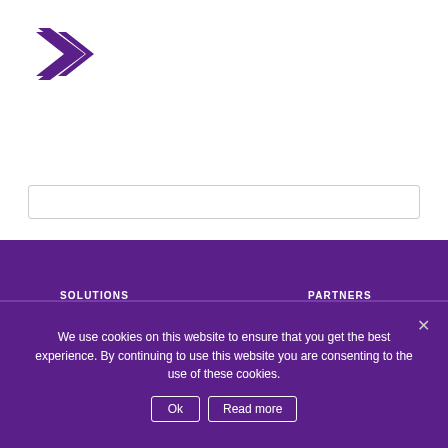[Figure (logo): Collabora purple arrow/chevron logo mark]
SOLUTIONS
Collabora Online / Trial – Download
Collabora Office / Trial – Download
Consultancy & support
PARTNERS
Our partners
Become a partner
Partner & Client portal
LIBREOFFICE AND US
We use cookies on this website to ensure that you get the best experience. By continuing to use this website you are consenting to the use of these cookies.